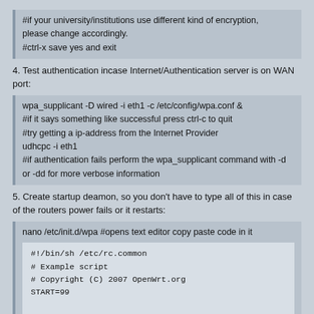#if your university/institutions use different kind of encryption, please change accordingly.
#ctrl-x save yes and exit
4. Test authentication incase Internet/Authentication server is on WAN port:
wpa_supplicant -D wired -i eth1 -c /etc/config/wpa.conf &
#if it says something like successful press ctrl-c to quit
#try getting a ip-address from the Internet Provider
udhcpc -i eth1
#if authentication fails perform the wpa_supplicant command with -d or -dd for more verbose information
5. Create startup deamon, so you don't have to type all of this in case of the routers power fails or it restarts:
nano /etc/init.d/wpa #opens text editor copy paste code in it
#!/bin/sh /etc/rc.common
# Example script
# Copyright (C) 2007 OpenWrt.org
START=99

start() {
echo start